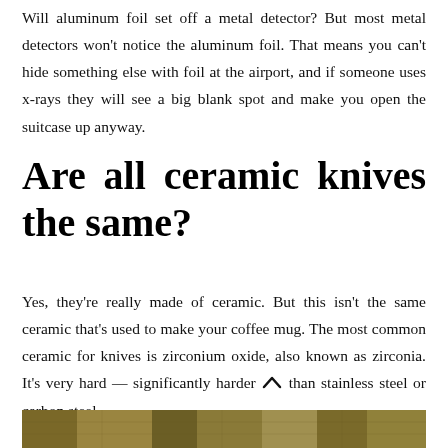Will aluminum foil set off a metal detector? But most metal detectors won't notice the aluminum foil. That means you can't hide something else with foil at the airport, and if someone uses x-rays they will see a big blank spot and make you open the suitcase up anyway.
Are all ceramic knives the same?
Yes, they're really made of ceramic. But this isn't the same ceramic that's used to make your coffee mug. The most common ceramic for knives is zirconium oxide, also known as zirconia. It's very hard — significantly harder than stainless steel or carbon steel.
[Figure (photo): Partial photo strip at bottom of page showing a natural/outdoor scene in golden-brown tones]